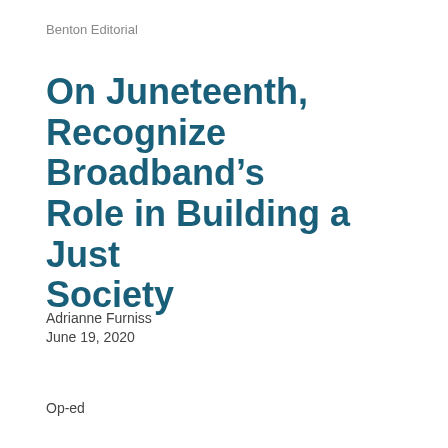Benton Editorial
On Juneteenth, Recognize Broadband’s Role in Building a Just Society
Adrianne Furniss
June 19, 2020
Op-ed